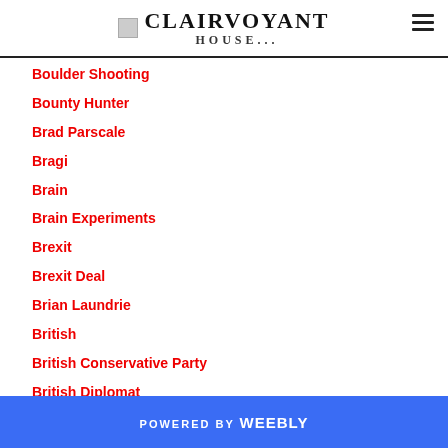CLAIRVOYANT
Boulder Shooting
Bounty Hunter
Brad Parscale
Bragi
Brain
Brain Experiments
Brexit
Brexit Deal
Brian Laundrie
British
British Conservative Party
British Diplomat
British High Commissioner
British High Commissioner To Fiji
British Media
POWERED BY weebly